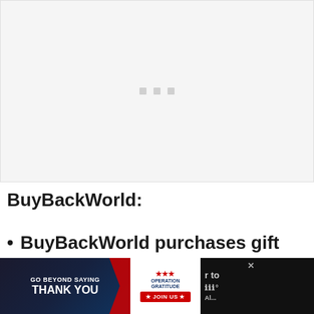[Figure (other): Gray placeholder image area with three small gray squares/dots centered near the top]
BuyBackWorld:
BuyBackWorld purchases gift cards and old
[Figure (other): Advertisement banner: GO BEYOND SAYING THANK YOU - Operation Gratitude JOIN US ad with close button and partial weather/news content on right]